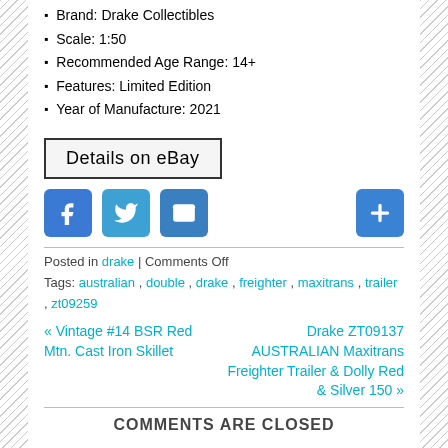Brand: Drake Collectibles
Scale: 1:50
Recommended Age Range: 14+
Features: Limited Edition
Year of Manufacture: 2021
[Figure (other): Details on eBay button]
[Figure (other): Social share buttons: Facebook, Twitter, Email, Plus]
Posted in drake | Comments Off
Tags: australian, double, drake, freighter, maxitrans, trailer, zt09259
« Vintage #14 BSR Red Mtn. Cast Iron Skillet
Drake ZT09137 AUSTRALIAN Maxitrans Freighter Trailer & Dolly Red & Silver 150 »
COMMENTS ARE CLOSED